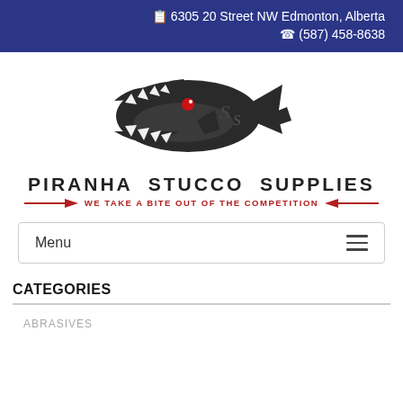📋 6305 20 Street NW Edmonton, Alberta
📞 (587) 458-8638
[Figure (logo): Piranha Stucco Supplies logo featuring a stylized dark piranha fish with a red eye and sharp teeth, facing left]
PIRANHA STUCCO SUPPLIES
WE TAKE A BITE OUT OF THE COMPETITION
Menu
CATEGORIES
ABRASIVES